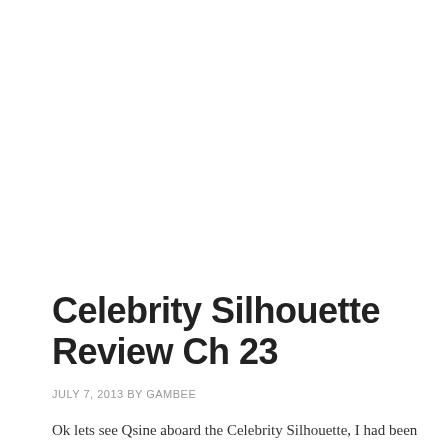Celebrity Silhouette Review Ch 23
JULY 7, 2013 BY GAMBEE
Ok lets see Qsine aboard the Celebrity Silhouette, I had been